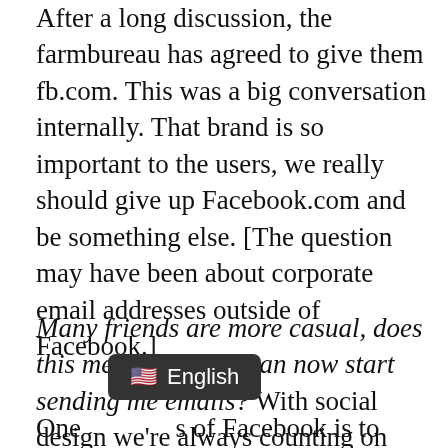After a long discussion, the farmbureau has agreed to give them fb.com. This was a big conversation internally. That brand is so important to the users, we really should give up Facebook.com and be something else. [The question may have been about corporate email addresses outside of Facebook.]
Many friends are more casual, does this mean that they can now start sending me emails? With social design we're always counting on meaningful relationships. Email is totally optional. At the same time, anyone who is already your Facebook friend, can send you messages.
One [s of Facebook is to make it easier